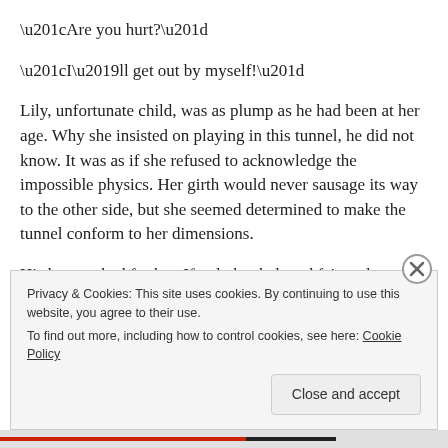“Are you hurt?”
“I’ll get out by myself!”
Lily, unfortunate child, was as plump as he had been at her age. Why she insisted on playing in this tunnel, he did not know. It was as if she refused to acknowledge the impossible physics. Her girth would never sausage its way to the other side, but she seemed determined to make the tunnel conform to her dimensions.
His heart ached for her. If only her beloved fairy tales were true — “Oh, look! A unicorn has come to grant a wish to a pure-
Privacy & Cookies: This site uses cookies. By continuing to use this website, you agree to their use.
To find out more, including how to control cookies, see here: Cookie Policy
Close and accept